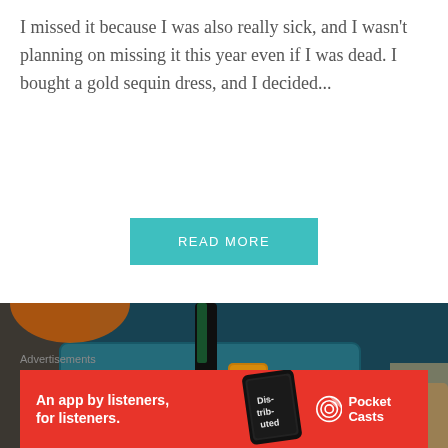I missed it because I was also really sick, and I wasn't planning on missing it this year even if I was dead. I bought a gold sequin dress, and I decided...
READ MORE
[Figure (photo): Close-up photo of beauty/cosmetic products including a mascara tube, a yellow coconut shea butter product, a white rectangular product, arranged against a dark teal blue background with other items visible]
Advertisements
[Figure (screenshot): Red advertisement banner for Pocket Casts app showing text 'An app by listeners, for listeners.' with a phone image showing 'Distributed' text and the Pocket Casts logo]